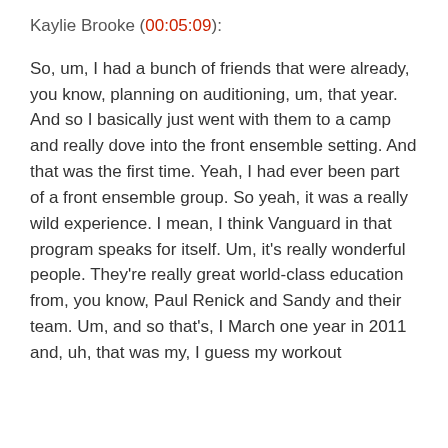Kaylie Brooke (00:05:09):
So, um, I had a bunch of friends that were already, you know, planning on auditioning, um, that year. And so I basically just went with them to a camp and really dove into the front ensemble setting. And that was the first time. Yeah, I had ever been part of a front ensemble group. So yeah, it was a really wild experience. I mean, I think Vanguard in that program speaks for itself. Um, it's really wonderful people. They're really great world-class education from, you know, Paul Renick and Sandy and their team. Um, and so that's, I March one year in 2011 and, uh, that was my, I guess my workout